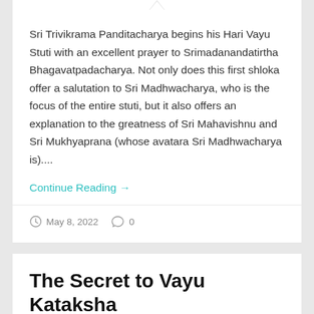Sri Trivikrama Panditacharya begins his Hari Vayu Stuti with an excellent prayer to Srimadanandatirtha Bhagavatpadacharya. Not only does this first shloka offer a salutation to Sri Madhwacharya, who is the focus of the entire stuti, but it also offers an explanation to the greatness of Sri Mahavishnu and Sri Mukhyaprana (whose avatara Sri Madhwacharya is)....
Continue Reading →
May 8, 2022   0
The Secret to Vayu Kataksha